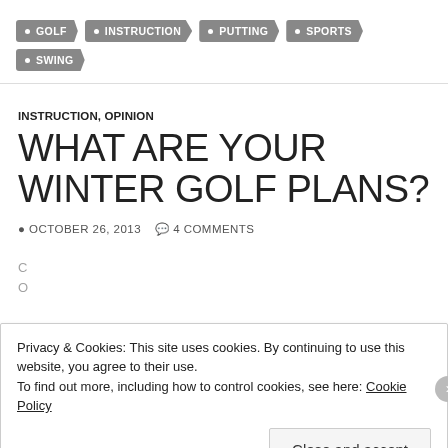GOLF  INSTRUCTION  PUTTING  SPORTS  SWING
INSTRUCTION, OPINION
WHAT ARE YOUR WINTER GOLF PLANS?
OCTOBER 26, 2013   4 COMMENTS
Privacy & Cookies: This site uses cookies. By continuing to use this website, you agree to their use.
To find out more, including how to control cookies, see here: Cookie Policy
Close and accept